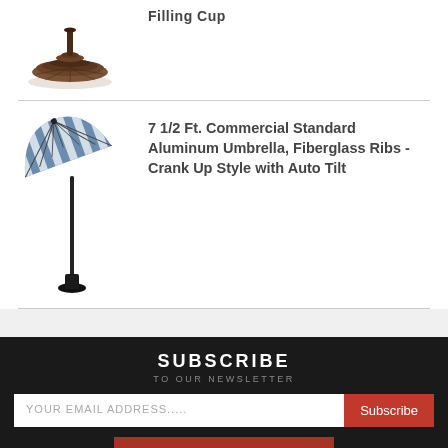[Figure (photo): Brown round umbrella base / stand]
Filling Cup
[Figure (photo): Blue and white striped tilting patio umbrella on a stand]
7 1/2 Ft. Commercial Standard Aluminum Umbrella, Fiberglass Ribs - Crank Up Style with Auto Tilt
SUBSCRIBE
TO OUR NEWSLETTER
YOUR EMAIL ADDRESS.....
Subscribe
Leave a message